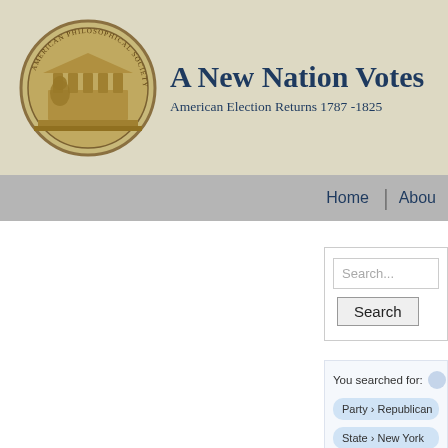[Figure (logo): Circular seal/emblem with classical building and figure, aged bronze/sepia coloring]
A New Nation Votes
American Election Returns 1787-1825
Home | About
Search...
Search
You searched for:
Party › Republican
State › New York
« Pr